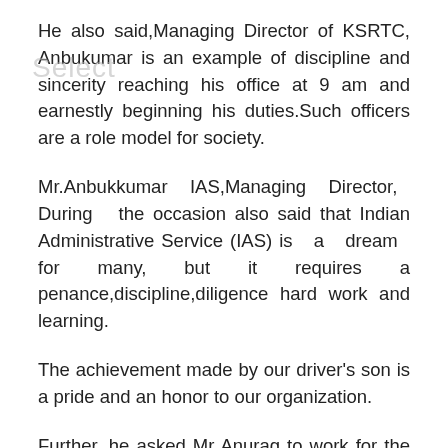He also said,Managing Director of KSRTC, Anbukumar is an example of discipline and sincerity reaching his office at 9 am and earnestly beginning his duties.Such officers are a role model for society.
Mr.Anbukkumar IAS,Managing Director, During the occasion also said that Indian Administrative Service (IAS) is a dream for many, but it requires a penance,discipline,diligence hard work and learning.
The achievement made by our driver's son is a pride and an honor to our organization.
Further, he asked Mr Anurag to work for the society and recalled his father's role in his achievement.
He profusely thanked Mr Manik Rao and his role while his son achieving the top honors. He also said that he is